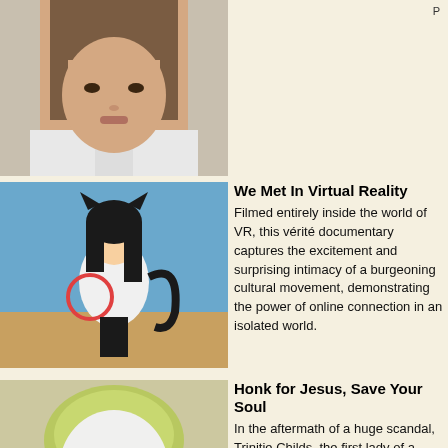[Figure (photo): Partial top image showing a young woman in a white shirt, cropped at the top of the page]
[Figure (photo): Anime character in VR desert scene - black haired character with cat ears in white outfit]
We Met In Virtual Reality
Filmed entirely inside the world of VR, this vérité documentary captures the excitement and surprising intimacy of a burgeoning cultural movement, demonstrating the power of online connection in an isolated world.
[Figure (photo): Person with white face paint and dark lipstick wearing a green/yellow head wrap]
Honk for Jesus, Save Your Soul
In the aftermath of a huge scandal, Trinitie Childs, the first lady of a prominent Southern Baptist megachurch, attempts to help her pastor husband, Lee-Curtis Childs, rebuild their congregation.
[Figure (photo): Blonde woman seen through teal decorative iron gate with spiral designs]
Watcher
A young woman moves into a new apartment with her fiancé and is tormented by the feeling that she is being stalked by an unseen watcher in an adjacent building.